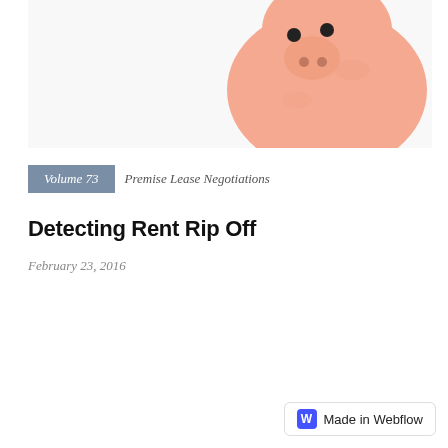[Figure (photo): Pink ceramic piggy bank photographed from behind/side angle against white background]
Volume 73   Premise Lease Negotiations
Detecting Rent Rip Off
February 23, 2016
Read More
Made in Webflow